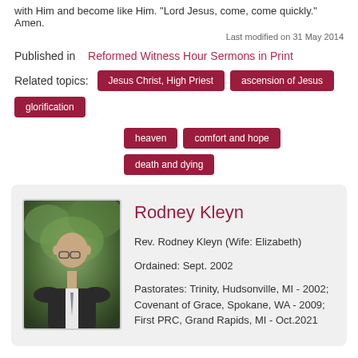with Him and become like Him.  "Lord Jesus, come, come quickly." Amen.
Last modified on 31 May 2014
Published in   Reformed Witness Hour Sermons in Print
Related topics:  Jesus Christ, High Priest   ascension of Jesus   glorification   heaven   comfort and hope   death and dying
[Figure (photo): Portrait photo of Rev. Rodney Kleyn, a middle-aged man in a dark suit with glasses, standing in front of green foliage]
Rodney Kleyn
Rev. Rodney Kleyn (Wife: Elizabeth)
Ordained: Sept. 2002
Pastorates: Trinity, Hudsonville, MI - 2002; Covenant of Grace, Spokane, WA - 2009; First PRC, Grand Rapids, MI - Oct.2021